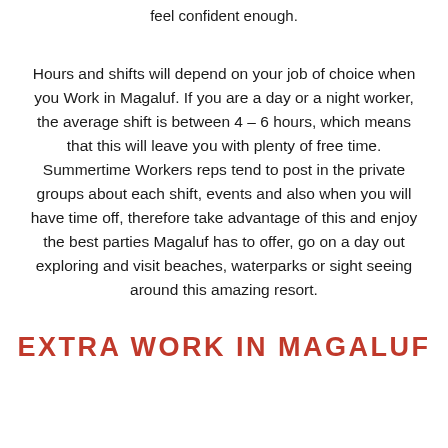feel confident enough.
Hours and shifts will depend on your job of choice when you Work in Magaluf. If you are a day or a night worker, the average shift is between 4 – 6 hours, which means that this will leave you with plenty of free time. Summertime Workers reps tend to post in the private groups about each shift, events and also when you will have time off, therefore take advantage of this and enjoy the best parties Magaluf has to offer, go on a day out exploring and visit beaches, waterparks or sight seeing around this amazing resort.
EXTRA WORK IN MAGALUF